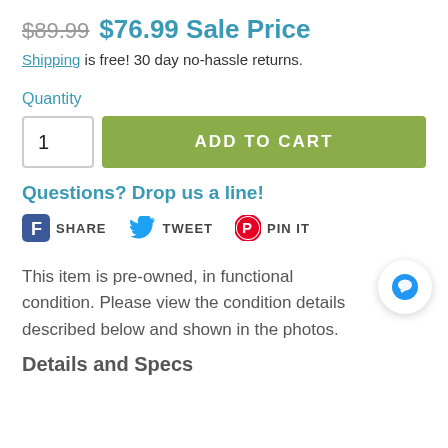$89.99  $76.99 Sale Price
Shipping is free! 30 day no-hassle returns.
Quantity
1  ADD TO CART
Questions? Drop us a line!
SHARE  TWEET  PIN IT
This item is pre-owned, in functional condition. Please view the condition details described below and shown in the photos.
Details and Specs